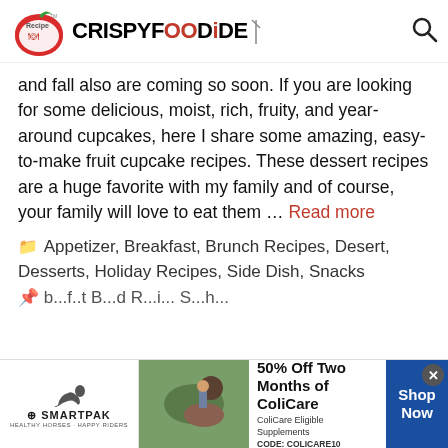CrispyFoodIdea (logo and brand name)
and fall also are coming so soon. If you are looking for some delicious, moist, rich, fruity, and year-around cupcakes, here I share some amazing, easy-to-make fruit cupcake recipes. These dessert recipes are a huge favorite with my family and of course, your family will love to eat them … Read more
Appetizer, Breakfast, Brunch Recipes, Desert, Desserts, Holiday Recipes, Side Dish, Snacks
[Figure (screenshot): SmartPak advertisement banner: 50% Off Two Months of ColiCare, ColiCare Eligible Supplements, CODE: COLICARE10, with Shop Now button]